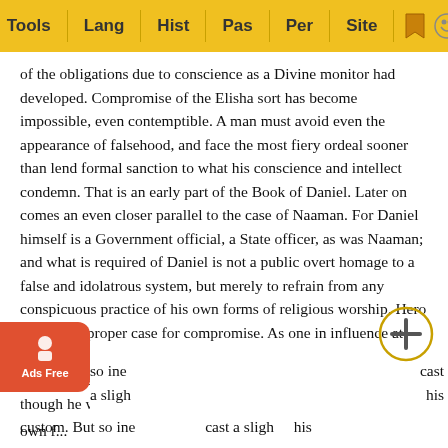Tools | Lang | Hist | Pas | Per | Site
of the obligations due to conscience as a Divine monitor had developed. Compromise of the Elisha sort has become impossible, even contemptible. A man must avoid even the appearance of falsehood, and face the most fiery ordeal sooner than lend formal sanction to what his conscience and intellect condemn. That is an early part of the Book of Daniel. Later on comes an even closer parallel to the case of Naaman. For Daniel himself is a Government official, a State officer, as was Naaman; and what is required of Daniel is not a public overt homage to a false and idolatrous system, but merely to refrain from any conspicuous practice of his own forms of religious worship. Hero surely is a proper case for compromise. As one in influence at Court, it will not be politic to resist the law. And, after all, no law could prevent hi[m from send]ing up silent petitions to Jehovah, though he were [com]pelled for the time to discontinue a religious custom. But so ine[xcusable was the act; it] cast a sligh[t upon] his [own f]...